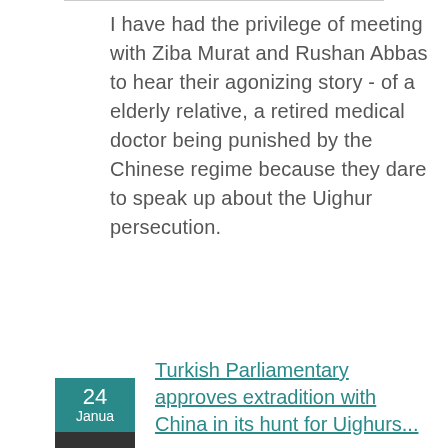I have had the privilege of meeting with Ziba Murat and Rushan Abbas to hear their agonizing story - of a elderly relative, a retired medical doctor being punished by the Chinese regime because they dare to speak up about the Uighur persecution.
24 Janua
Turkish Parliamentary approves extradition with China in its hunt for Uighurs...